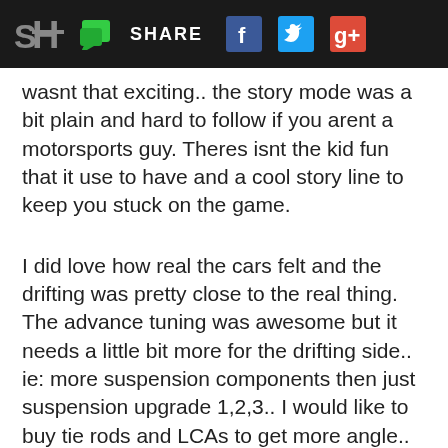SH [logo] [chat icon] SHARE [Facebook icon] [Twitter icon] [Google+ icon]
wasnt that exciting.. the story mode was a bit plain and hard to follow if you arent a motorsports guy. Theres isnt the kid fun that it use to have and a cool story line to keep you stuck on the game.
I did love how real the cars felt and the drifting was pretty close to the real thing. The advance tuning was awesome but it needs a little bit more for the drifting side.. ie: more suspension components then just suspension upgrade 1,2,3.. I would like to buy tie rods and LCAs to get more angle.. camber my car to hella